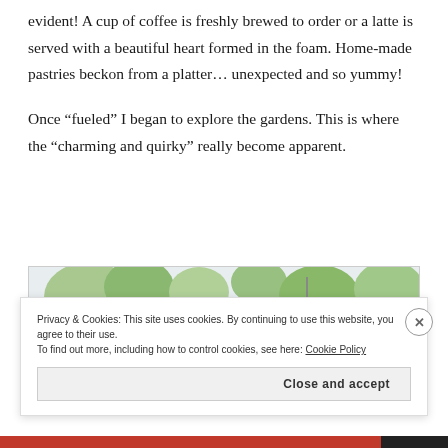evident!  A cup of coffee is freshly brewed to order or a latte is served with a beautiful heart formed in the foam.  Home-made pastries beckon from a platter… unexpected and so yummy!
Once “fueled” I began to explore the gardens.  This is where the “charming and quirky” really become apparent.
[Figure (photo): Partial view of a garden with green foliage, plants, and what appears to be outdoor furniture or decor. A cookie consent banner overlays the lower portion.]
Privacy & Cookies: This site uses cookies. By continuing to use this website, you agree to their use.
To find out more, including how to control cookies, see here: Cookie Policy
Close and accept